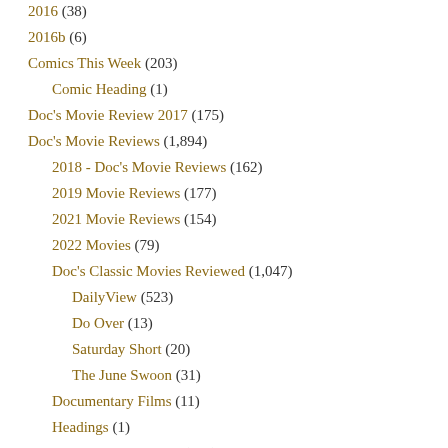2016 (38)
2016b (6)
Comics This Week (203)
Comic Heading (1)
Doc's Movie Review 2017 (175)
Doc's Movie Reviews (1,894)
2018 - Doc's Movie Reviews (162)
2019 Movie Reviews (177)
2021 Movie Reviews (154)
2022 Movies (79)
Doc's Classic Movies Reviewed (1,047)
DailyView (523)
Do Over (13)
Saturday Short (20)
The June Swoon (31)
Documentary Films (11)
Headings (1)
Movie Reviews 2020 (175)